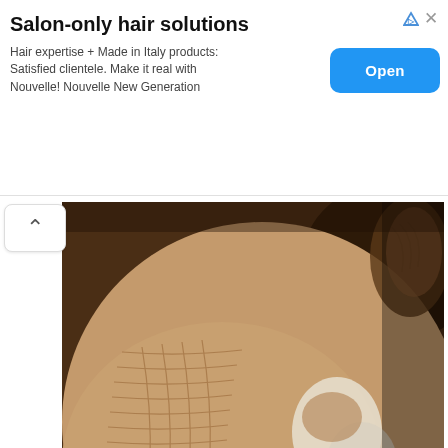Salon-only hair solutions
Hair expertise + Made in Italy products: Satisfied clientele. Make it real with Nouvelle! Nouvelle New Generation
[Figure (photo): Close-up photo of elderly person's face showing heavily wrinkled and dry skin with white residue/cream around the nose and cheek area]
Doctors Stunned: This Removes Wrinkles and Eye-bags Like Crazy (Try Tonight!)
Trending Stories